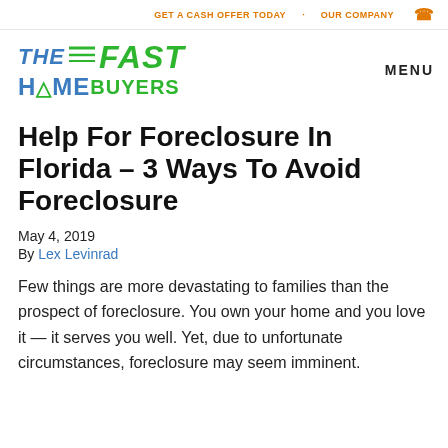GET A CASH OFFER TODAY   OUR COMPANY
[Figure (logo): The Fast Home Buyers logo — 'THE FAST' in blue/green italic bold text with green speed lines, 'HOME BUYERS' below in blue/green bold text]
MENU
Help For Foreclosure In Florida – 3 Ways To Avoid Foreclosure
May 4, 2019
By Lex Levinrad
Few things are more devastating to families than the prospect of foreclosure. You own your home and you love it — it serves you well. Yet, due to unfortunate circumstances, foreclosure may seem imminent.